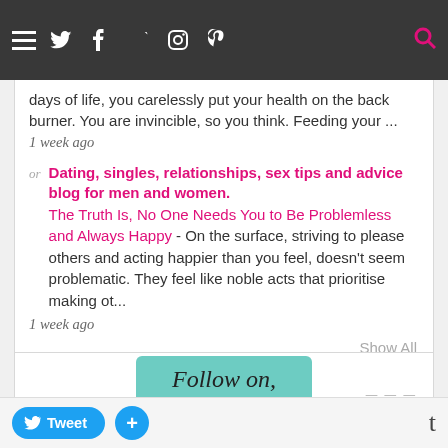Navigation bar with hamburger menu and social icons
days of life, you carelessly put your health on the back burner. You are invincible, so you think. Feeding your ...
1 week ago
Dating, singles, relationships, sex tips and advice blog for men and women. The Truth Is, No One Needs You to Be Problemless and Always Happy - On the surface, striving to please others and acting happier than you feel, doesn't seem problematic. They feel like noble acts that prioritise making ot...
1 week ago
Show All
[Figure (illustration): Follow on Bloglovin button with teal background and cursive text]
Tweet + t